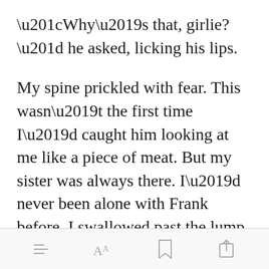“Why’s that, girlie?” he asked, licking his lips.
My spine prickled with fear. This wasn’t the first time I’d caught him looking at me like a piece of meat. But my sister was always there. I’d never been alone with Frank before. I swallowed past the lump forming in my throat as I backed toward the door.
[toolbar: menu, font-size, bookmark, share]